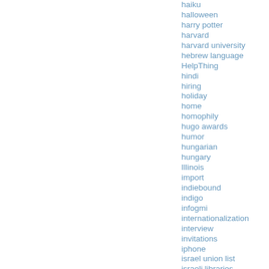haiku
halloween
harry potter
harvard
harvard university
hebrew language
HelpThing
hindi
hiring
holiday
home
homophily
hugo awards
humor
hungarian
hungary
Illinois
import
indiebound
indigo
infogmi
internationalization
interview
invitations
iphone
israel union list
israeli libraries
italy
itunes
javascript
jefferson
jeremy dibbell
jobs